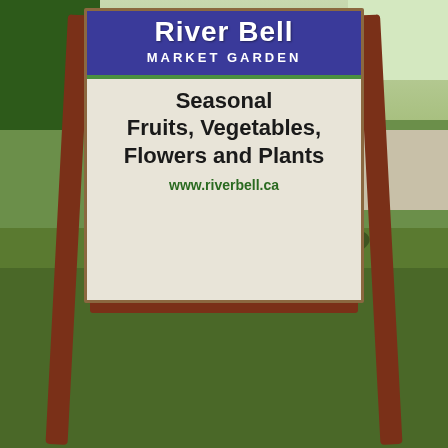[Figure (photo): Outdoor photograph of a wooden A-frame sandwich board sign for River Bell Market Garden. The sign has a blue banner at the top reading 'River Bell MARKET GARDEN', followed by bold black text on a light beige board reading 'Seasonal Fruits, Vegetables, Flowers and Plants', and a green URL 'www.riverbell.ca'. The sign stands on a grassy lawn with trees visible in the background.]